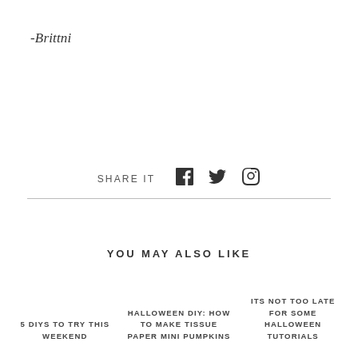-Brittni
SHARE IT
YOU MAY ALSO LIKE
5 DIYS TO TRY THIS WEEKEND
HALLOWEEN DIY: HOW TO MAKE TISSUE PAPER MINI PUMPKINS
ITS NOT TOO LATE FOR SOME HALLOWEEN TUTORIALS